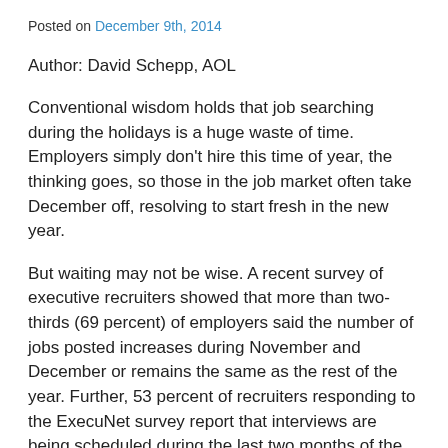Posted on December 9th, 2014
Author: David Schepp, AOL
Conventional wisdom holds that job searching during the holidays is a huge waste of time. Employers simply don't hire this time of year, the thinking goes, so those in the job market often take December off, resolving to start fresh in the new year.
But waiting may not be wise. A recent survey of executive recruiters showed that more than two-thirds (69 percent) of employers said the number of jobs posted increases during November and December or remains the same as the rest of the year. Further, 53 percent of recruiters responding to the ExecuNet survey report that interviews are being scheduled during the last two months of the year